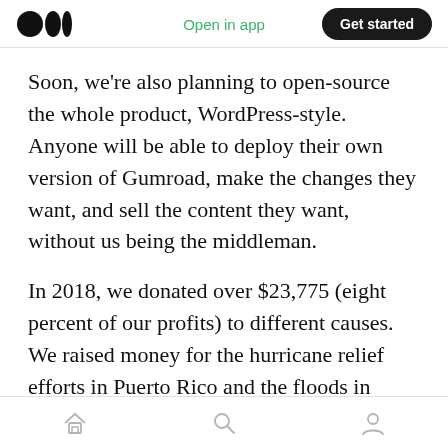Open in app | Get started
Soon, we're also planning to open-source the whole product, WordPress-style. Anyone will be able to deploy their own version of Gumroad, make the changes they want, and sell the content they want, without us being the middleman.
In 2018, we donated over $23,775 (eight percent of our profits) to different causes. We raised money for the hurricane relief efforts in Puerto Rico and the floods in Kerala. We helped fund the Presence-of-Blackness project in speculative
Home | Search | Profile